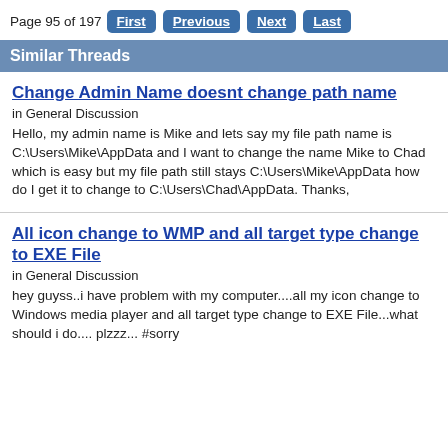Page 95 of 197  First  Previous  Next  Last
Similar Threads
Change Admin Name doesnt change path name
in General Discussion
Hello, my admin name is Mike and lets say my file path name is C:\Users\Mike\AppData and I want to change the name Mike to Chad which is easy but my file path still stays C:\Users\Mike\AppData how do I get it to change to C:\Users\Chad\AppData. Thanks,
All icon change to WMP and all target type change to EXE File
in General Discussion
hey guyss..i have problem with my computer....all my icon change to Windows media player and all target type change to EXE File...what should i do.... plzzz... #sorry